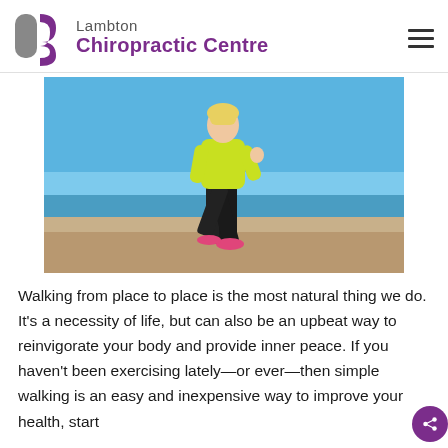Lambton Chiropractic Centre
[Figure (photo): Woman in yellow-green jacket and black pants walking outdoors near the beach under a blue sky, wearing pink sneakers.]
Walking from place to place is the most natural thing we do. It's a necessity of life, but can also be an upbeat way to reinvigorate your body and provide inner peace. If you haven't been exercising lately—or ever—then simple walking is an easy and inexpensive way to improve your health, start